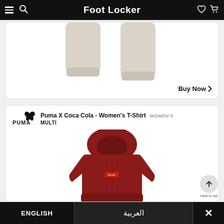Foot Locker
[Figure (photo): Light beige/cream sweatpants shown from waist down on white background]
Buy Now
[Figure (photo): Dark red/burgundy Puma X Coca Cola women's hoodie on white background]
Puma X Coca Cola - Women's T-Shirt  WOMEN'S
MULTI
back to top
ENGLISH
العربية
✕